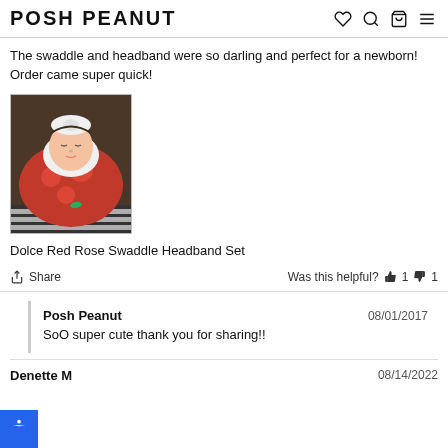POSH PEANUT
The swaddle and headband were so darling and perfect for a newborn! Order came super quick!
[Figure (photo): Photo of a newborn baby wrapped in a red rose patterned swaddle with a headband, lying on a striped background.]
Dolce Red Rose Swaddle Headband Set
Share   Was this helpful? 👍 1 👎 1
Posh Peanut   08/01/2017
SoO super cute thank you for sharing!!
Denette M   08/14/2022